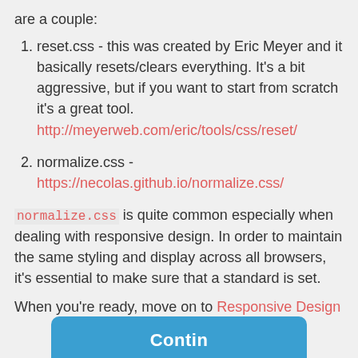are a couple:
reset.css - this was created by Eric Meyer and it basically resets/clears everything. It's a bit aggressive, but if you want to start from scratch it's a great tool. http://meyerweb.com/eric/tools/css/reset/
normalize.css - https://necolas.github.io/normalize.css/
normalize.css is quite common especially when dealing with responsive design. In order to maintain the same styling and display across all browsers, it's essential to make sure that a standard is set.
When you're ready, move on to Responsive Design
[Figure (other): Blue Continue button partially visible at bottom of page]